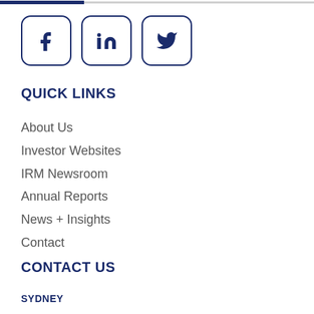[Figure (illustration): Three social media icons in rounded-rectangle bordered boxes: Facebook (f), LinkedIn (in), Twitter (bird icon), arranged horizontally]
QUICK LINKS
About Us
Investor Websites
IRM Newsroom
Annual Reports
News + Insights
Contact
CONTACT US
SYDNEY